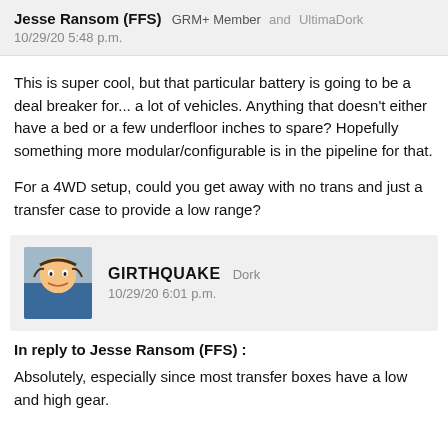Jesse Ransom (FFS) GRM+ Member and UltimaDork
10/29/20 5:48 p.m.
This is super cool, but that particular battery is going to be a deal breaker for... a lot of vehicles. Anything that doesn't either have a bed or a few underfloor inches to spare? Hopefully something more modular/configurable is in the pipeline for that.
For a 4WD setup, could you get away with no trans and just a transfer case to provide a low range?
GIRTHQUAKE Dork
10/29/20 6:01 p.m.
In reply to Jesse Ransom (FFS) :
Absolutely, especially since most transfer boxes have a low and high gear.